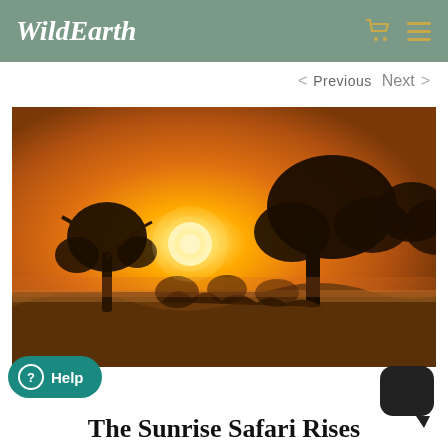WildEarth
< Previous   Next >
[Figure (photo): Safari sunrise landscape with silhouetted trees against an orange and golden sky, with the sun visible just above the horizon.]
Help
The Sunrise Safari Rises